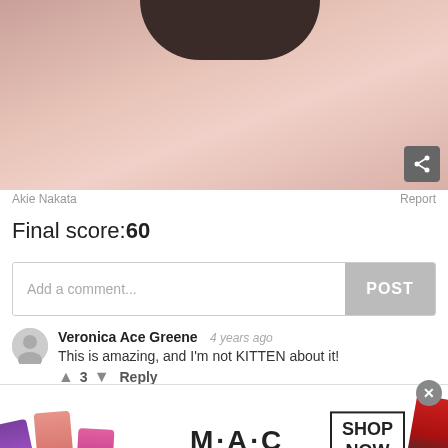[Figure (photo): Close-up photo of a hand/skin with a makeup brush, skin tones in pink and beige]
Akie Nakata    Report
Final score:60
Add a comment...   POST
Veronica Ace Greene  4 years ago
This is amazing, and I'm not KITTEN about it!
▲ 3 ▼ Reply
View More Replies
[Figure (advertisement): MAC Cosmetics ad banner with lipsticks and SHOP NOW button]